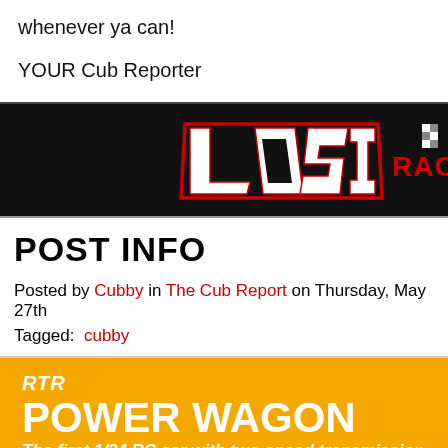whenever ya can!

YOUR Cub Reporter
[Figure (logo): Losi RACE logo on black background with checkered flag pattern]
POST INFO
Posted by Cubby in The Cub Report on Thursday, May 27th
Tagged: cubby
[Figure (infographic): RTR Power Wagon banner - The first 1/24 RC car with two-speed transmission - orange background]